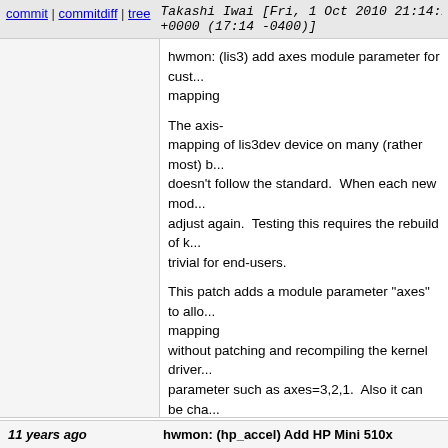commit | commitdiff | tree   Takashi Iwai [Fri, 1 Oct 2010 21:14:25 +0000 (17:14 -0400)]
hwmon: (lis3) add axes module parameter for custom mapping

The axis-mapping of lis3dev device on many (rather most) boards doesn't follow the standard. When each new model needs to adjust again. Testing this requires the rebuild of kernel, which is trivial for end-users.

This patch adds a module parameter "axes" to allow customizing the mapping without patching and recompiling the kernel driver. One can pass the parameter such as axes=3,2,1. Also it can be changed at runtime ...
Signed-off-by: Takashi Iwai <tiwai@suse.de>
Acked-by: Eric Piel <eric.piel@tremplin-utc.net>
Cc: Jean Delvare <khali@linux-fr.org>
Cc: Guenter Roeck <guenter.roeck@ericsson.com>
Signed-off-by: Andrew Morton <akpm@linux-foundation.org>
Signed-off-by: Guenter Roeck <guenter.roeck@ericsson.com>
11 years ago   hwmon: (hp_accel) Add HP Mini 510x